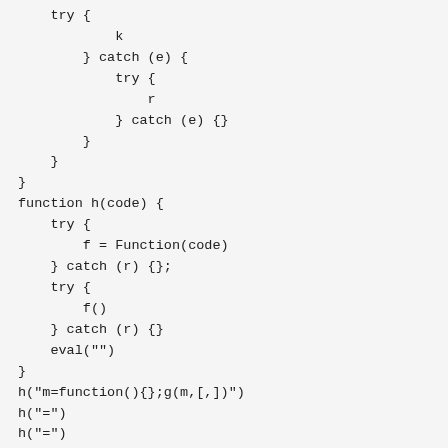try {
            k
        } catch (e) {
            try {
                r
            } catch (e) {}
        }
    }
}
function h(code) {
    try {
        f = Function(code)
    } catch (r) {};
    try {
        f()
    } catch (r) {}
    eval("")
}
h("m=function(){};g(m,[,])")
h("=")
h("=")